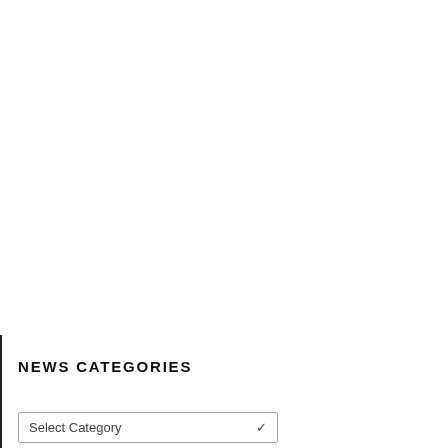NEWS CATEGORIES
Select Category